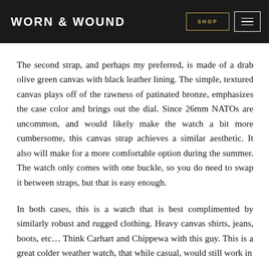WORN & WOUND | SHOP
The second strap, and perhaps my preferred, is made of a drab olive green canvas with black leather lining. The simple, textured canvas plays off of the rawness of patinated bronze, emphasizes the case color and brings out the dial. Since 26mm NATOs are uncommon, and would likely make the watch a bit more cumbersome, this canvas strap achieves a similar aesthetic. It also will make for a more comfortable option during the summer. The watch only comes with one buckle, so you do need to swap it between straps, but that is easy enough.
In both cases, this is a watch that is best complimented by similarly robust and rugged clothing. Heavy canvas shirts, jeans, boots, etc… Think Carhart and Chippewa with this guy. This is a great colder weather watch, that while casual, would still work in